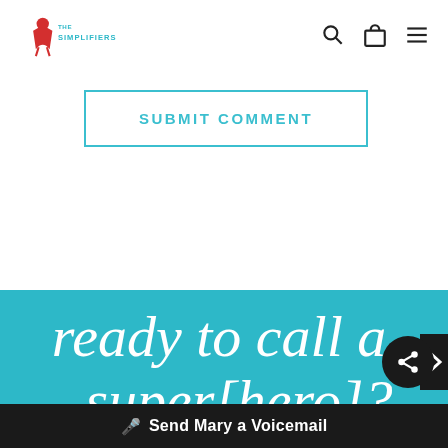The Simplifiers logo with navigation icons (search, bag, menu)
SUBMIT COMMENT
[Figure (screenshot): Teal background section with large cursive white text reading 'ready to call a super[hero]?' — partially cropped]
Send Mary a Voicemail